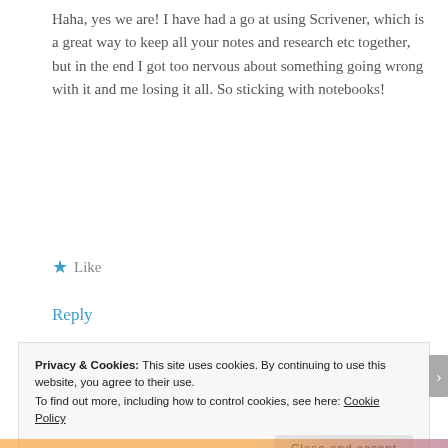Haha, yes we are! I have had a go at using Scrivener, which is a great way to keep all your notes and research etc together, but in the end I got too nervous about something going wrong with it and me losing it all. So sticking with notebooks!
★ Like
Reply
Privacy & Cookies: This site uses cookies. By continuing to use this website, you agree to their use. To find out more, including how to control cookies, see here: Cookie Policy
Close and accept